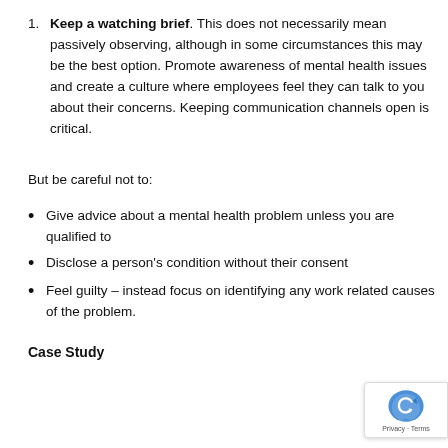Keep a watching brief. This does not necessarily mean passively observing, although in some circumstances this may be the best option. Promote awareness of mental health issues and create a culture where employees feel they can talk to you about their concerns. Keeping communication channels open is critical.
But be careful not to:
Give advice about a mental health problem unless you are qualified to
Disclose a person's condition without their consent
Feel guilty – instead focus on identifying any work related causes of the problem.
Case Study